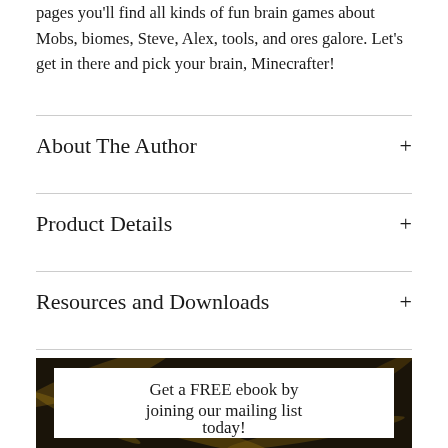pages you'll find all kinds of fun brain games about Mobs, biomes, Steve, Alex, tools, and ores galore. Let's get in there and pick your brain, Minecrafter!
About The Author
Product Details
Resources and Downloads
[Figure (other): Promotional banner with dark marbled background and a white card overlay reading 'Get a FREE ebook by joining our mailing list today!']